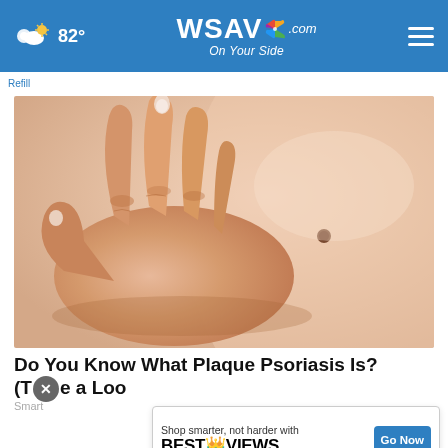82° WSAV.com On Your Side
Refill
[Figure (photo): Close-up photo of a hand scratching or touching skin with a mole/lesion, related to plaque psoriasis article]
Do You Know What Plaque Psoriasis Is? (Take a Look)
Smart
[Figure (other): Advertisement banner: Shop smarter, not harder with BestReviews Go Now button]